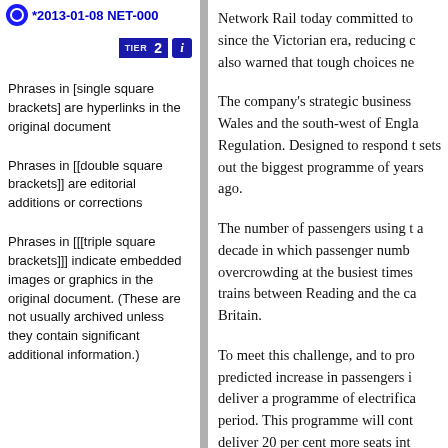*2013-01-08 NET-000
[Figure (other): TIER 2 badge with info icon]
Phrases in [single square brackets] are hyperlinks in the original document
Phrases in [[double square brackets]] are editorial additions or corrections
Phrases in [[[triple square brackets]]] indicate embedded images or graphics in the original document. (These are not usually archived unless they contain significant additional information.)
Network Rail today committed to since the Victorian era, reducing c also warned that tough choices ne
The company's strategic business Wales and the south-west of Engla Regulation. Designed to respond t sets out the biggest programme of years ago.
The number of passengers using t a decade in which passenger numb overcrowding at the busiest times trains between Reading and the ca Britain.
To meet this challenge, and to pro predicted increase in passengers i deliver a programme of electrifica period. This programme will cont deliver 20 per cent more seats int